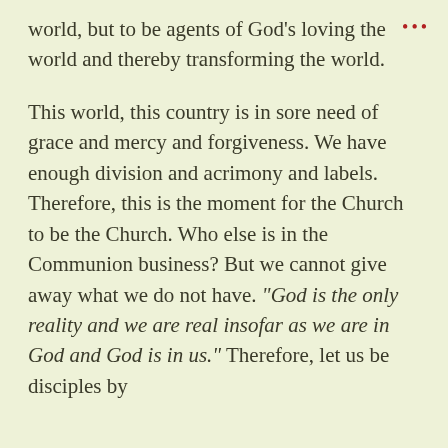world, but to be agents of God's loving the world and thereby transforming the world.
This world, this country is in sore need of grace and mercy and forgiveness. We have enough division and acrimony and labels. Therefore, this is the moment for the Church to be the Church. Who else is in the Communion business? But we cannot give away what we do not have. “God is the only reality and we are real insofar as we are in God and God is in us.” Therefore, let us be disciples by